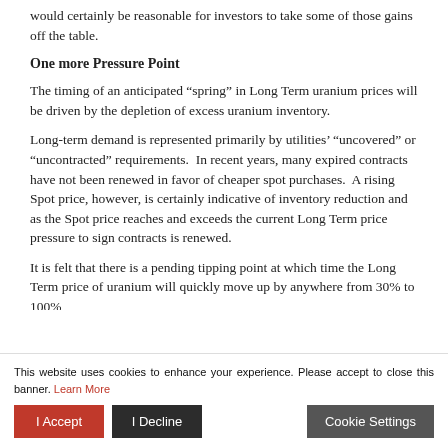would certainly be reasonable for investors to take some of those gains off the table.
One more Pressure Point
The timing of an anticipated “spring” in Long Term uranium prices will be driven by the depletion of excess uranium inventory.
Long-term demand is represented primarily by utilities’ “uncovered” or “uncontracted” requirements.  In recent years, many expired contracts have not been renewed in favor of cheaper spot purchases.  A rising Spot price, however, is certainly indicative of inventory reduction and as the Spot price reaches and exceeds the current Long Term price pressure to sign contracts is renewed.
It is felt that there is a pending tipping point at which time the Long Term price of uranium will quickly move up by anywhere from 30% to 100%
This website uses cookies to enhance your experience. Please accept to close this banner. Learn More
I Accept
I Decline
Cookie Settings